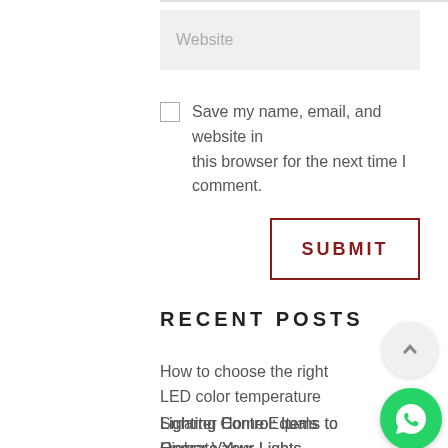Website
Save my name, email, and website in this browser for the next time I comment.
SUBMIT
RECENT POSTS
How to choose the right LED color temperature
Lighting Control: Items to Operate Your Lights
Smarter Home Equals Higher Value